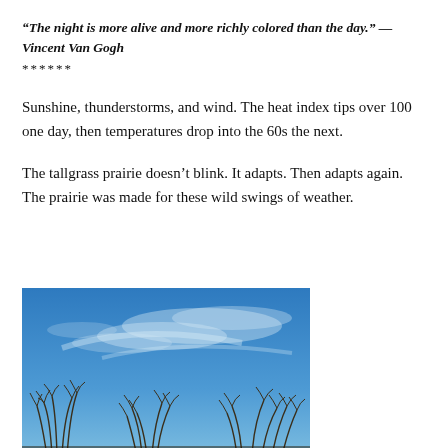“The night is more alive and more richly colored than the day.” — Vincent Van Gogh
******
Sunshine, thunderstorms, and wind. The heat index tips over 100 one day, then temperatures drop into the 60s the next.
The tallgrass prairie doesn’t blink. It adapts. Then adapts again. The prairie was made for these wild swings of weather.
[Figure (photo): Tallgrass prairie plants silhouetted against a blue sky with wispy clouds]